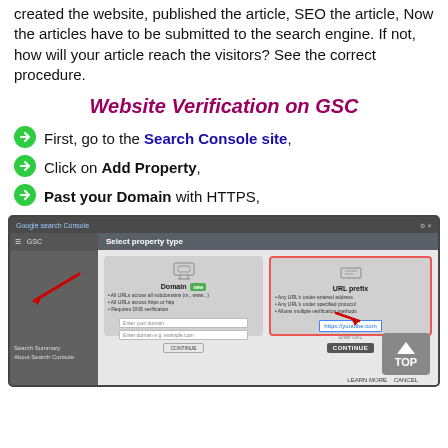created the website, published the article, SEO the article, Now the articles have to be submitted to the search engine. If not, how will your article reach the visitors? See the correct procedure.
Website Verification on GSC
First, go to the Search Console site,
Click on Add Property,
Past your Domain with HTTPS,
[Figure (screenshot): Screenshot of Google Search Console showing the 'Select property type' dialog with Domain and URL prefix options. A red arrow points to the URL prefix input box showing https://youtube.com. A 'CONTINUE' button is visible. A 'TOP' back-to-top button is in the bottom right corner.]